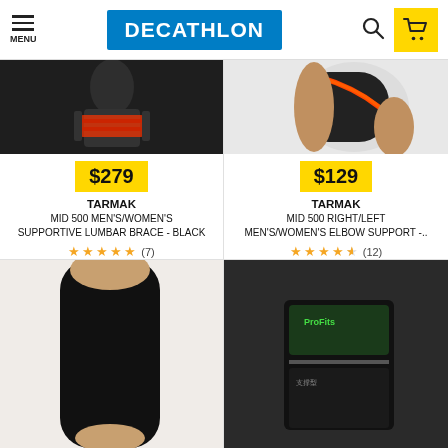MENU | DECATHLON
[Figure (photo): Decathlon product listing page showing sports protective gear. Two products visible fully: TARMAK MID 500 Men's/Women's Supportive Lumbar Brace - Black at $279, and TARMAK MID 500 Right/Left Men's/Women's Elbow Support at $129. Two more products partially visible at the bottom.]
$279
TARMAK
MID 500 MEN'S/WOMEN'S SUPPORTIVE LUMBAR BRACE - BLACK
★★★★★ (7)
$129
TARMAK
MID 500 RIGHT/LEFT MEN'S/WOMEN'S ELBOW SUPPORT -..
★★★★½ (12)